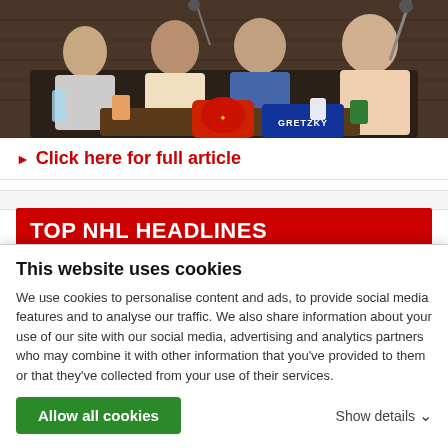[Figure (photo): Podcast-style photo showing several people seated on a couch/chairs in a studio with brick wall background. A Chicago Blackhawks branded bag and a blue Gretzky branded bag are visible on the table in front.]
▶ Click here for full article
TOP NHL HEADLINES
Penguins sign head coach Mike Sullivan to 3-year extension
This website uses cookies
We use cookies to personalise content and ads, to provide social media features and to analyse our traffic. We also share information about your use of our site with our social media, advertising and analytics partners who may combine it with other information that you've provided to them or that they've collected from your use of their services.
Allow all cookies
Show details